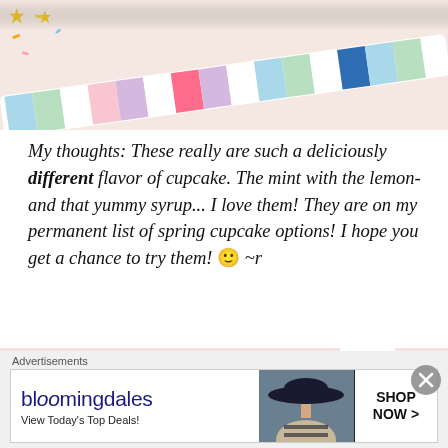[Figure (photo): Close-up photo of colorful striped candy sticks on a light pink/cream background with some sprinkles]
My thoughts: These really are such a deliciously different flavor of cupcake. The mint with the lemon- and that yummy syrup... I love them! They are on my permanent list of spring cupcake options! I hope you get a chance to try them! 🙂 ~r
[Figure (photo): Photo of a cupcake with colorful striped candy stick decoration, pink ball topper, and colorful sprinkles on light pink background]
Advertisements
[Figure (screenshot): Bloomingdale's advertisement: 'View Today's Top Deals!' with SHOP NOW > button and image of woman in hat]